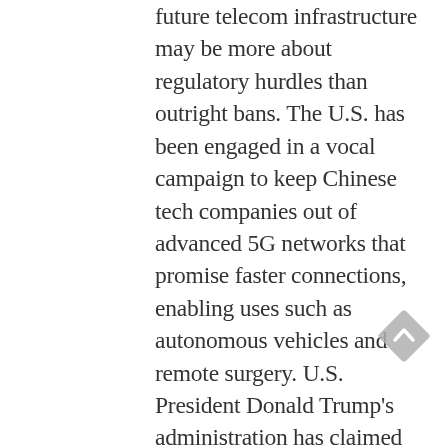future telecom infrastructure may be more about regulatory hurdles than outright bans. The U.S. has been engaged in a vocal campaign to keep Chinese tech companies out of advanced 5G networks that promise faster connections, enabling uses such as autonomous vehicles and remote surgery. U.S. President Donald Trump's administration has claimed that companies could be tools for state espionage. While no European agency has targeted Huawei by name, U.S. warnings haven't exactly fallen on deaf ears: the region's regulators have been tightening standards that may hit Huawei harder than Nokia
[Figure (other): A grey diamond-shaped scroll-to-top navigation button with an upward-pointing chevron arrow icon]